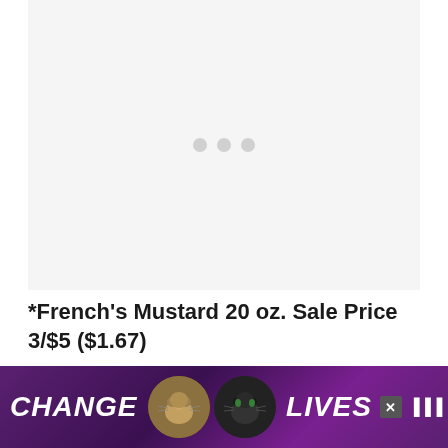[Figure (other): Image loading placeholder with three grey dots indicating content is loading]
*French's Mustard 20 oz. Sale Price 3/$5 ($1.67)
Use the .30/1 French's Classic Mustard q from1/18 SS or 3/29 SS. Final Price $1.07
[Figure (photo): Advertisement banner reading CHANGE LIVES with two cats (tabby and black cat) in circular frames on a purple background]